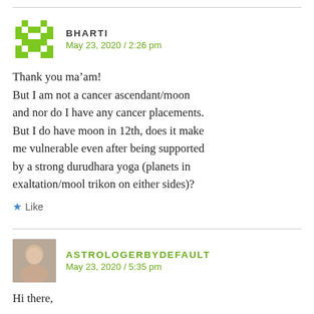BHARTI
May 23, 2020 / 2:26 pm
Thank you ma’am!
But I am not a cancer ascendant/moon and nor do I have any cancer placements. But I do have moon in 12th, does it make me vulnerable even after being supported by a strong durudhara yoga (planets in exaltation/mool trikon on either sides)?
★ Like
ASTROLOGERBYDEFAULT
May 23, 2020 / 5:35 pm
Hi there,